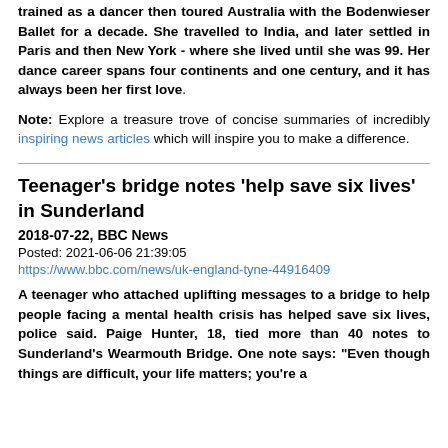trained as a dancer then toured Australia with the Bodenwieser Ballet for a decade. She travelled to India, and later settled in Paris and then New York - where she lived until she was 99. Her dance career spans four continents and one century, and it has always been her first love.
Note: Explore a treasure trove of concise summaries of incredibly inspiring news articles which will inspire you to make a difference.
Teenager's bridge notes 'help save six lives' in Sunderland
2018-07-22, BBC News
Posted: 2021-06-06 21:39:05
https://www.bbc.com/news/uk-england-tyne-44916409
A teenager who attached uplifting messages to a bridge to help people facing a mental health crisis has helped save six lives, police said. Paige Hunter, 18, tied more than 40 notes to Sunderland's Wearmouth Bridge. One note says: "Even though things are difficult, your life matters; you're a